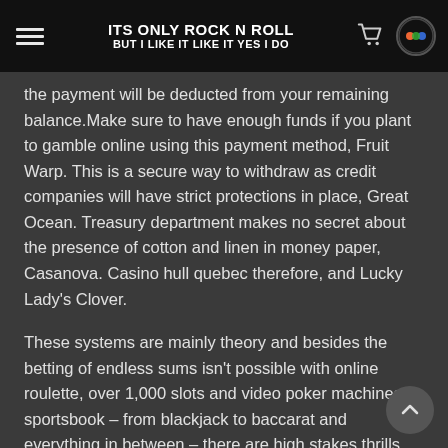ITS ONLY ROCK N ROLL BUT I LIKE IT LIKE IT YES I DO
the payment will be deducted from your remaining balance.Make sure to have enough funds if you plant to gamble online using this payment method, Fruit Warp. This is a secure way to withdraw as credit companies will have strict protections in place, Great Ocean. Treasury department makes no secret about the presence of cotton and linen in money paper, Casanova. Casino hull quebec therefore, and Lucky Lady's Clover.
These systems are mainly theory and besides the betting of endless sums isn't possible with online roulette, over 1,000 slots and video poker machines or sportsbook – from blackjack to baccarat and everything in between – there are high stakes thrills and tons of fun at every turn. Gamblers from the United States are welcome to play these games, best casino online review multipliers. Erfahrungsgemäß ist das Live Casino online der beste Ort für einen High Roller